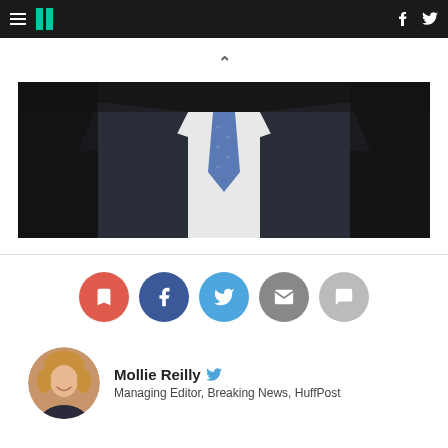HuffPost navigation bar with hamburger menu, logo, Facebook and Twitter icons
[Figure (photo): Close-up photo of a man in a dark suit with a blue dotted tie, cropped to show neck/chest area only, dark background]
[Figure (infographic): Row of 5 circular social sharing buttons: bookmark (red), Facebook (dark blue), Twitter (light blue), email (gray), comment (light gray)]
Mollie Reilly
Managing Editor, Breaking News, HuffPost